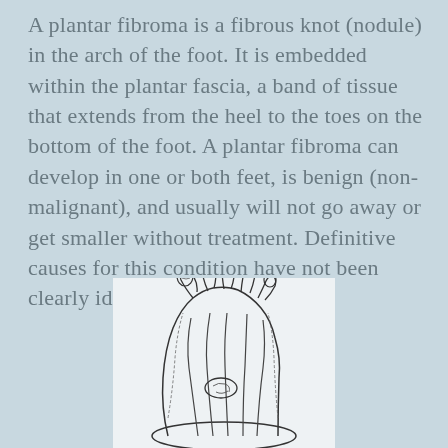A plantar fibroma is a fibrous knot (nodule) in the arch of the foot. It is embedded within the plantar fascia, a band of tissue that extends from the heel to the toes on the bottom of the foot. A plantar fibroma can develop in one or both feet, is benign (non-malignant), and usually will not go away or get smaller without treatment. Definitive causes for this condition have not been clearly identified.
[Figure (illustration): Line drawing illustration of a human foot viewed from the front/top, showing the toes and internal anatomy of the plantar fascia with detailed anatomical structures.]